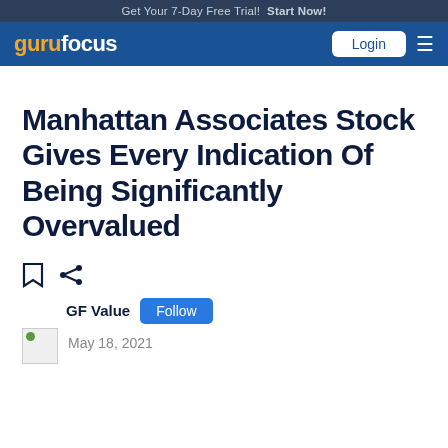Get Your 7-Day Free Trial! Start Now!
gurufocus — Login
Manhattan Associates Stock Gives Every Indication Of Being Significantly Overvalued
GF Value Follow
May 18, 2021